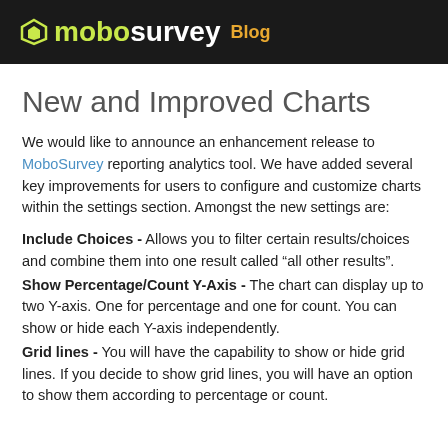mobosurvey Blog
New and Improved Charts
We would like to announce an enhancement release to MoboSurvey reporting analytics tool. We have added several key improvements for users to configure and customize charts within the settings section. Amongst the new settings are:
Include Choices - Allows you to filter certain results/choices and combine them into one result called “all other results”.
Show Percentage/Count Y-Axis - The chart can display up to two Y-axis. One for percentage and one for count. You can show or hide each Y-axis independently.
Grid lines - You will have the capability to show or hide grid lines. If you decide to show grid lines, you will have an option to show them according to percentage or count.